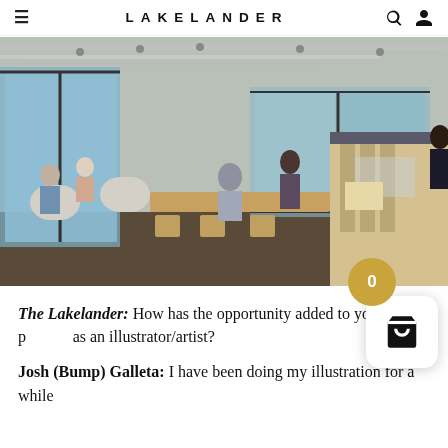LAKELANDER
[Figure (photo): Interior of a modern cafe/coffee shop with large floor-to-ceiling windows, industrial ceiling with exposed pipes and track lighting, light wood tables and chairs, customers seated, and a service counter on the right side.]
The Lakelander: How has the opportunity added to your practice as an illustrator/artist?
Josh (Bump) Galleta: I have been doing my illustration for a while